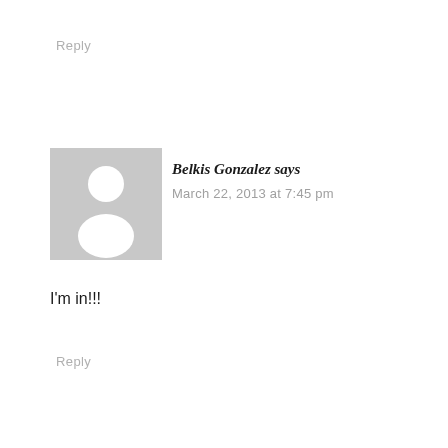Reply
[Figure (illustration): Default user avatar: grey square with white silhouette of a person (head and shoulders)]
Belkis Gonzalez says
March 22, 2013 at 7:45 pm
I'm in!!!
Reply